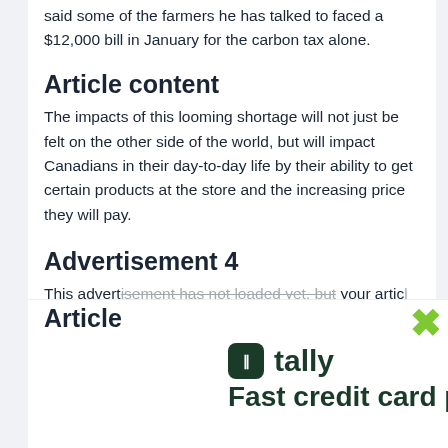said some of the farmers he has talked to faced a $12,000 bill in January for the carbon tax alone.
Article content
The impacts of this looming shortage will not just be felt on the other side of the world, but will impact Canadians in their day-to-day life by their ability to get certain products at the store and the increasing price they will pay.
Advertisement 4
This advertisement has not loaded yet, but your article
Article
[Figure (screenshot): Tally app advertisement overlay with tally branding and 'Fast credit card pay' tagline in dark green, with green X close button]